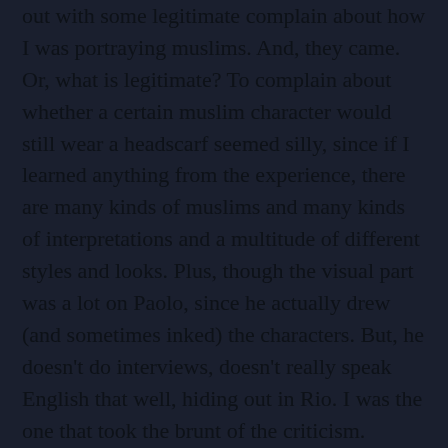out with some legitimate complain about how I was portraying muslims. And, they came. Or, what is legitimate? To complain about whether a certain muslim character would still wear a headscarf seemed silly, since if I learned anything from the experience, there are many kinds of muslims and many kinds of interpretations and a multitude of different styles and looks. Plus, though the visual part was a lot on Paolo, since he actually drew (and sometimes inked) the characters. But, he doesn't do interviews, doesn't really speak English that well, hiding out in Rio. I was the one that took the brunt of the criticism.
	But there was good stuff, and that's what made me happy. I got many emails and radio talk show phone calls, and tweets thanking me for bringing the whole issue out in the open. And I even got suggestions from actual muslims, telling me their real-life stories from other countries, and or their own speculation...